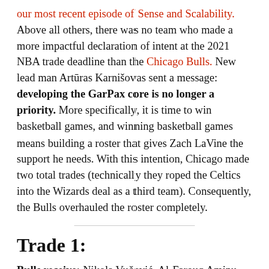our most recent episode of Sense and Scalability. Above all others, there was no team who made a more impactful declaration of intent at the 2021 NBA trade deadline than the Chicago Bulls. New lead man Artūras Karnišovas sent a message: developing the GarPax core is no longer a priority. More specifically, it is time to win basketball games, and winning basketball games means building a roster that gives Zach LaVine the support he needs. With this intention, Chicago made two total trades (technically they roped the Celtics into the Wizards deal as a third team). Consequently, the Bulls overhauled the roster completely.
Trade 1:
Bulls receive: Nikola Vučević, Al-Farouq Aminu